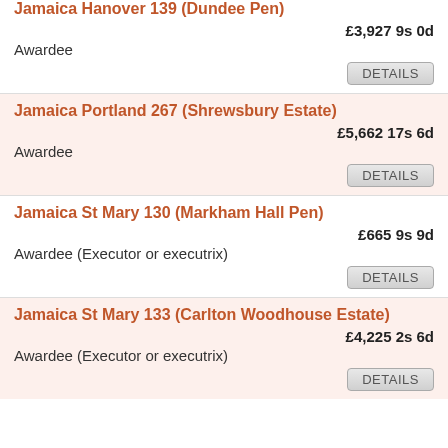Jamaica Hanover 139 (Dundee Pen)
£3,927 9s 0d
Awardee
Jamaica Portland 267 (Shrewsbury Estate)
£5,662 17s 6d
Awardee
Jamaica St Mary 130 (Markham Hall Pen)
£665 9s 9d
Awardee (Executor or executrix)
Jamaica St Mary 133 (Carlton Woodhouse Estate)
£4,225 2s 6d
Awardee (Executor or executrix)